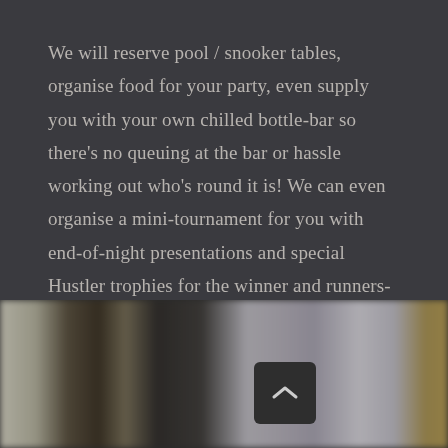We will reserve pool / snooker tables, organise food for your party, even supply you with your own chilled bottle-bar so there's no queuing at the bar or hassle working out who's round it is! We can even organise a mini-tournament for you with end-of-night presentations and special Hustler trophies for the winner and runners-up.
[Figure (photo): Blurred photograph showing a person in a white shirt in a dimly lit venue, with warm yellow accent in the top right corner and wooden elements visible on the left side.]